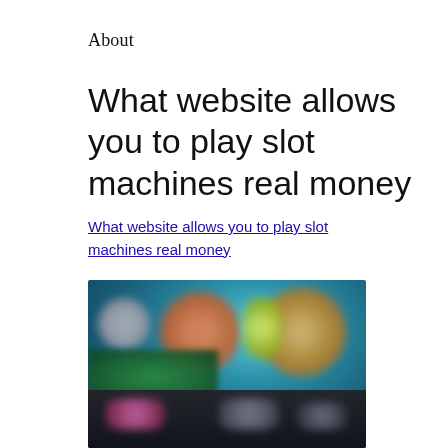About
What website allows you to play slot machines real money
What website allows you to play slot machines real money
[Figure (photo): Blurred screenshot of an online slot machine gaming website showing colorful game thumbnails and character graphics on a dark background.]